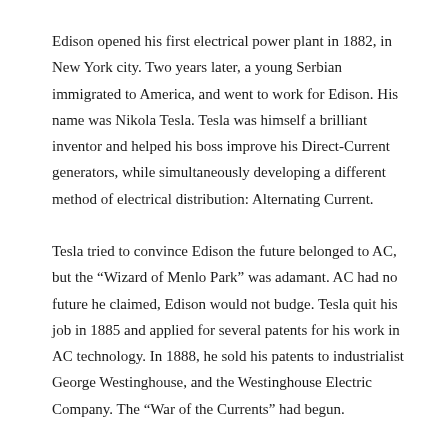Edison opened his first electrical power plant in 1882, in New York city. Two years later, a young Serbian immigrated to America, and went to work for Edison. His name was Nikola Tesla. Tesla was himself a brilliant inventor and helped his boss improve his Direct-Current generators, while simultaneously developing a different method of electrical distribution: Alternating Current.
Tesla tried to convince Edison the future belonged to AC, but the “Wizard of Menlo Park” was adamant. AC had no future he claimed, Edison would not budge. Tesla quit his job in 1885 and applied for several patents for his work in AC technology. In 1888, he sold his patents to industrialist George Westinghouse, and the Westinghouse Electric Company. The “War of the Currents” had begun.